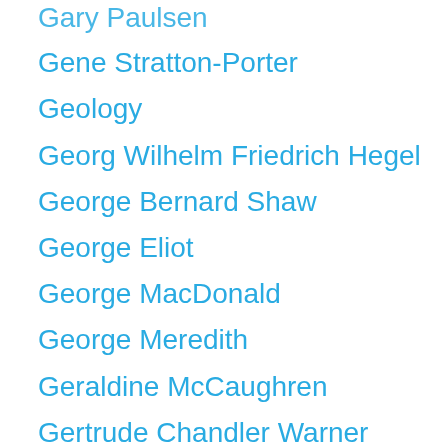Gary Paulsen
Gene Stratton-Porter
Geology
Georg Wilhelm Friedrich Hegel
George Bernard Shaw
George Eliot
George MacDonald
George Meredith
Geraldine McCaughren
Gertrude Chandler Warner
Giovanni Boccaccio
Gothic Fiction
Gothic Literature